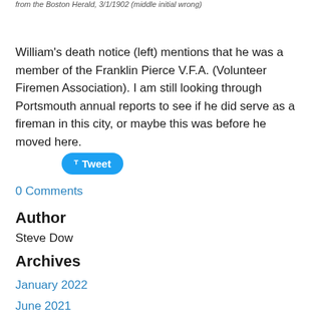from the Boston Herald, 3/1/1902 (middle initial wrong)
William's death notice (left) mentions that he was a member of the Franklin Pierce V.F.A. (Volunteer Firemen Association). I am still looking through Portsmouth annual reports to see if he did serve as a fireman in this city, or maybe this was before he moved here.
Tweet
0 Comments
Author
Steve Dow
Archives
January 2022
June 2021
January 2021
November 2020